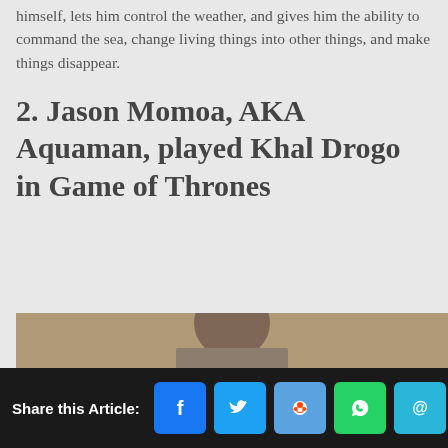himself, lets him control the weather, and gives him the ability to command the sea, change living things into other things, and make things disappear.
2. Jason Momoa, AKA Aquaman, played Khal Drogo in Game of Thrones
[Figure (photo): Photo of Jason Momoa partially visible at bottom of page]
Share this Article: [Facebook] [Twitter] [Reddit] [WhatsApp] [Email]